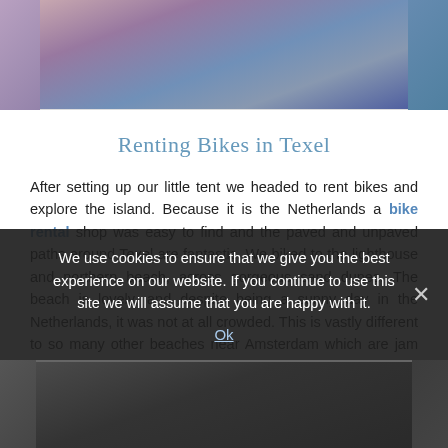[Figure (photo): Top portion of a photo showing a person (partially visible), background has blue and purple tones.]
Renting Bikes in Texel
After setting up our little tent we headed to rent bikes and explore the island. Because it is the Netherlands a bike rental shop was easy to find and the paved and unpaved paths around Texel are fantastic. We biked to the lighthouse and northern beach, across gorgeous sand dunes. The beach is lovely, and despite being a sunny day in the Netherlands, it was not at all crowded. This is vastly different to so many other beaches near Amsterdam which are jam packed on rare sunny days. After a walk along the beach we biked back through the sand dunes before
We use cookies to ensure that we give you the best experience on our website. If you continue to use this site we will assume that you are happy with it.
Ok
[Figure (photo): Bottom portion of a photo, dark tones, partially visible at the bottom of the page.]